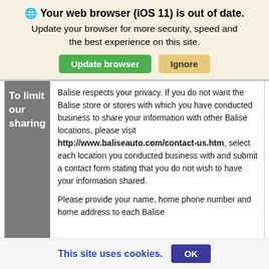🌐 Your web browser (iOS 11) is out of date. Update your browser for more security, speed and the best experience on this site.
Update browser | Ignore
| To limit our sharing | Content |
| --- | --- |
| To limit our sharing | Balise respects your privacy. If you do not want the Balise store or stores with which you have conducted business to share your information with other Balise locations, please visit http://www.baliseauto.com/contact-us.htm, select each location you conducted business with and submit a contact form stating that you do not wish to have your information shared.

Please provide your name, home phone number and home address to each Balise |
This site uses cookies.  OK